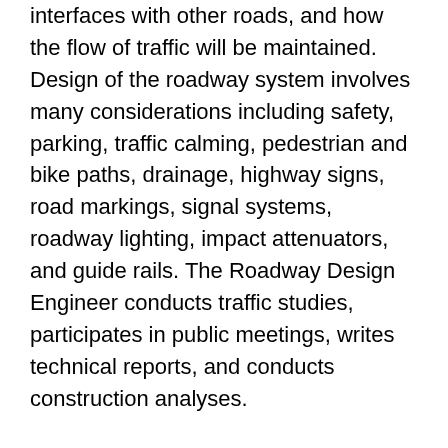how many lanes are needed, how this road interfaces with other roads, and how the flow of traffic will be maintained. Design of the roadway system involves many considerations including safety, parking, traffic calming, pedestrian and bike paths, drainage, highway signs, road markings, signal systems, roadway lighting, impact attenuators, and guide rails. The Roadway Design Engineer conducts traffic studies, participates in public meetings, writes technical reports, and conducts construction analyses.
Other responsibilities typically include:
Performing roadway geometric design